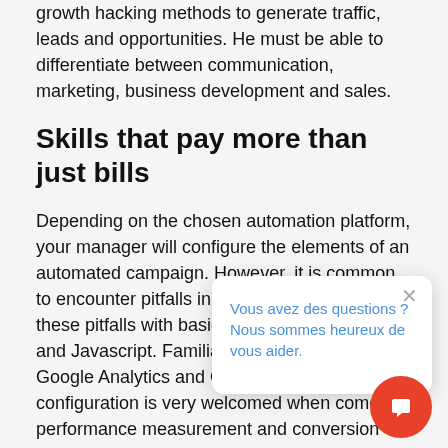growth hacking methods to generate traffic, leads and opportunities. He must be able to differentiate between communication, marketing, business development and sales.
Skills that pay more than just bills
Depending on the chosen automation platform, your manager will configure the elements of an automated campaign. However, it is common to encounter pitfalls in the process. He will gap these pitfalls with basic kn... Javascript. Familiarit... as Google Analytics a... Tag Manager configuration is very welcomed when comes performance measurement and conversion tasks. This knowledge is not mandatory, but... practical to speed up the production of your... campaigns without having to go through your IT
[Figure (other): Chat popup overlay with close button (×) and message 'Vous avez des questions ? Nous sommes heureux de vous aider.' in blue text, and a red circular chat bubble button in the bottom right corner.]